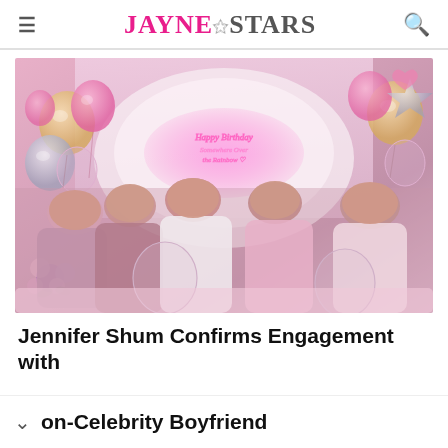JAYNE★STARS
[Figure (photo): Five young women posing together at a party with pink and rose gold balloons, flowers, and a neon Happy Birthday sign in the background. The women are wearing pink and floral outfits and smiling at the camera.]
Jennifer Shum Confirms Engagement with Non-Celebrity Boyfriend